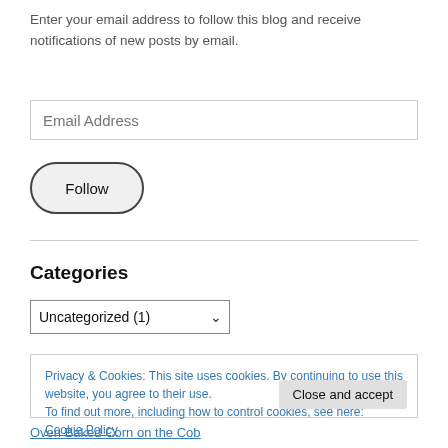Enter your email address to follow this blog and receive notifications of new posts by email.
Email Address
Follow
Categories
Uncategorized  (1)
Privacy & Cookies: This site uses cookies. By continuing to use this website, you agree to their use.
To find out more, including how to control cookies, see here: Cookie Policy
Close and accept
Oven Baked Corn on the Cob